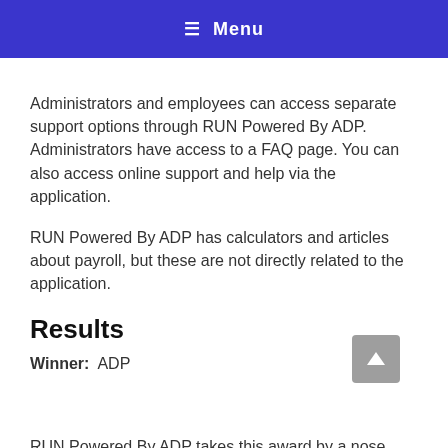≡  Menu
Administrators and employees can access separate support options through RUN Powered By ADP. Administrators have access to a FAQ page. You can also access online support and help via the application.
RUN Powered By ADP has calculators and articles about payroll, but these are not directly related to the application.
Results
Winner:  ADP
RUN Powered By ADP takes this award by a nose